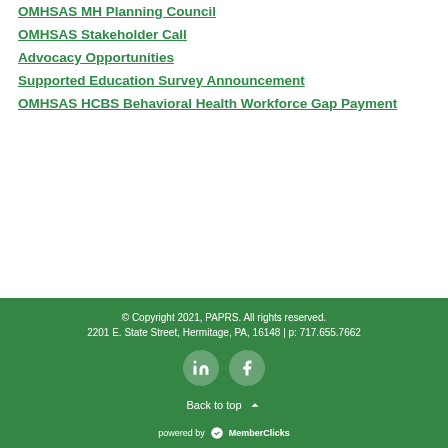OMHSAS MH Planning Council
OMHSAS Stakeholder Call
Advocacy Opportunities
Supported Education Survey Announcement
OMHSAS HCBS Behavioral Health Workforce Gap Payment
© Copyright 2021, PAPRS. All rights reserved.
2201 E. State Street, Hermitage, PA, 16148 | p: 717.655.7662
Back to top
powered by MemberClicks